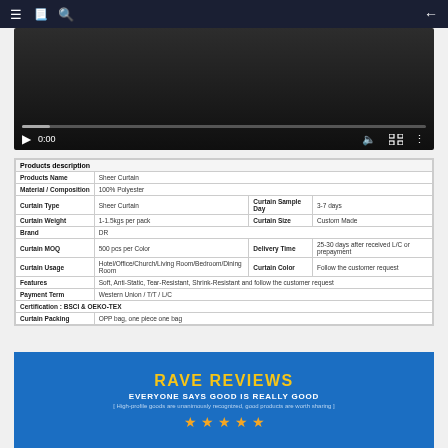≡  [icon]  🔍  ←
[Figure (screenshot): Video player with dark background, play button, timestamp 0:00, progress bar, volume and fullscreen controls]
| Products description |
| --- |
| Products Name | Sheer Curtain |  |  |
| Material / Composition | 100% Polyester |  |  |
| Curtain Type | Sheer Curtain | Curtain Sample Day | 3-7 days |
| Curtain Weight | 1-1.5kgs per pack | Curtain Size | Custom Made |
| Brand | DR |  |  |
| Curtain MOQ | 500 pcs per Color | Delivery Time | 25-30 days after received L/C or prepayment |
| Curtain Usage | Hotel/Office/Church/Living Room/Bedroom/Dining Room | Curtain Color | Follow the customer request |
| Features | Soft, Anti-Static, Tear-Resistant, Shrink-Resistant and follow the customer request |  |  |
| Payment Term | Western Union / T/T / L/C |  |  |
| Certification : BSCI & OEKO-TEX |  |  |  |
| Curtain Packing | OPP bag, one piece one bag |  |  |
[Figure (infographic): Blue banner with yellow RAVE REVIEWS title, white subtitle EVERYONE SAYS GOOD IS REALLY GOOD, light blue description text, and five orange stars]